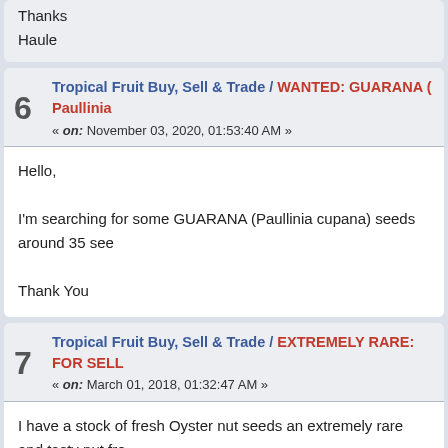Thanks
Haule
6  Tropical Fruit Buy, Sell & Trade / WANTED: GUARANA ( Paullinia
« on: November 03, 2020, 01:53:40 AM »
Hello,

I'm searching for some GUARANA (Paullinia cupana) seeds around 35 see

Thank You
7  Tropical Fruit Buy, Sell & Trade / EXTREMELY RARE: FOR SELL
« on: March 01, 2018, 01:32:47 AM »
I have a stock of fresh Oyster nut seeds an extremely rare and tasty nut fro
The seeds can be stored to about 5 Years.
Anyone interested please PM me